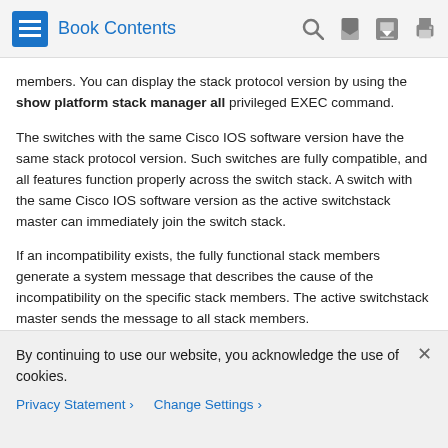Book Contents
members. You can display the stack protocol version by using the show platform stack manager all privileged EXEC command.
The switches with the same Cisco IOS software version have the same stack protocol version. Such switches are fully compatible, and all features function properly across the switch stack. A switch with the same Cisco IOS software version as the active switchstack master can immediately join the switch stack.
If an incompatibility exists, the fully functional stack members generate a system message that describes the cause of the incompatibility on the specific stack members. The active switchstack master sends the message to all stack members.
By continuing to use our website, you acknowledge the use of cookies.
Privacy Statement > Change Settings >